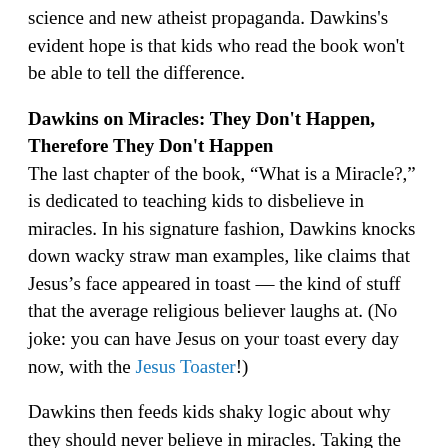science and new atheist propaganda. Dawkins's evident hope is that kids who read the book won't be able to tell the difference.
Dawkins on Miracles: They Don't Happen, Therefore They Don't Happen
The last chapter of the book, “What is a Miracle?,” is dedicated to teaching kids to disbelieve in miracles. In his signature fashion, Dawkins knocks down wacky straw man examples, like claims that Jesus’s face appeared in toast — the kind of stuff that the average religious believer laughs at. (No joke: you can have Jesus on your toast every day now, with the Jesus Toaster!)
Dawkins then feeds kids shaky logic about why they should never believe in miracles. Taking the tired old